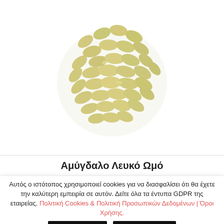[Figure (photo): A cluster of raw whole almonds (Αμύγδαλο Λευκό Ωμό) viewed from above, showing pale yellow-green oval shaped nuts piled together on a white background.]
Αμύγδαλο Λευκό Ωμό
Αυτός ο ιστότοπος χρησιμοποιεί cookies για να διασφαλίσει ότι θα έχετε την καλύτερη εμπειρία σε αυτόν. Δείτε όλα τα έντυπα GDPR της εταιρείας. Πολιτική Cookies & Πολιτική Προσωπικών Δεδομένων | Όροι Χρήσης.
Αποδοχή
Απόρριψη